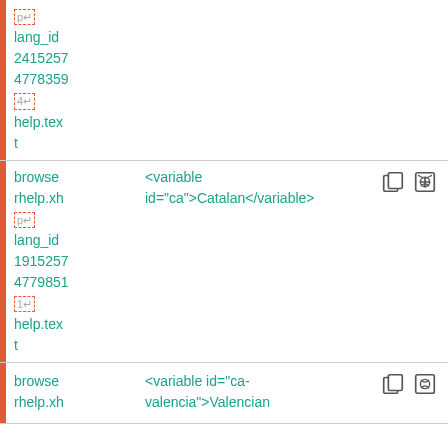p↵
lang_id
2415257
4778359
4↵
help.text
browse rhelp.xh p↵
<variable id="ca">Catalan</variable>
lang_id
1915257
4779851
1↵
help.text
browse rhelp.xh
<variable id="ca-valencia">Valencian